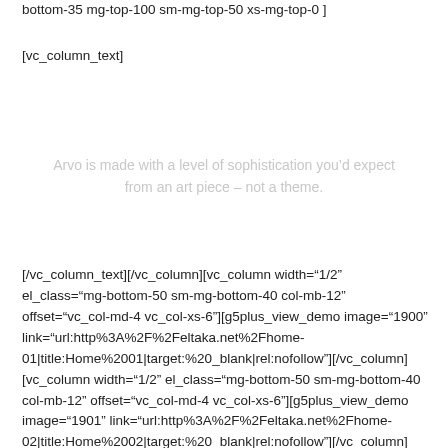bottom-35 mg-top-100 sm-mg-top-50 xs-mg-top-0 ]
[vc_column_text]
Arvo is made with a level of sophistication you’d expect from an art piece – not a theme.
[/vc_column_text][/vc_column][vc_column width="1/2" el_class="mg-bottom-50 sm-mg-bottom-40 col-mb-12" offset="vc_col-md-4 vc_col-xs-6"][g5plus_view_demo image="1900" link="url:http%3A%2F%2Feltaka.net%2Fhome-01|title:Home%2001|target:%20_blank|rel:nofollow"][/vc_column][vc_column width="1/2" el_class="mg-bottom-50 sm-mg-bottom-40 col-mb-12" offset="vc_col-md-4 vc_col-xs-6"][g5plus_view_demo image="1901" link="url:http%3A%2F%2Feltaka.net%2Fhome-02|title:Home%2002|target:%20_blank|rel:nofollow"][/vc_column]